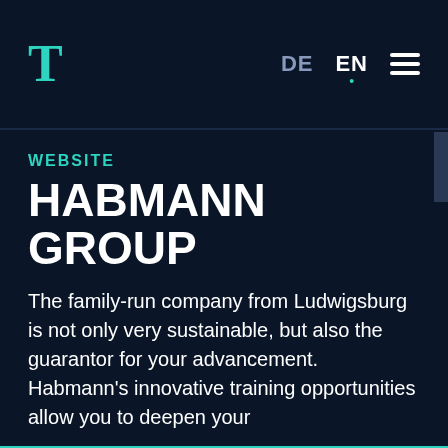T  DE  EN  ≡
WEBSITE
HABMANN GROUP
The family-run company from Ludwigsburg is not only very sustainable, but also the guarantor for your advancement. Habmann's innovative training opportunities allow you to deepen your
This website uses cookies to provide the best possible functionality.
Let me choose...
I decline
That's ok